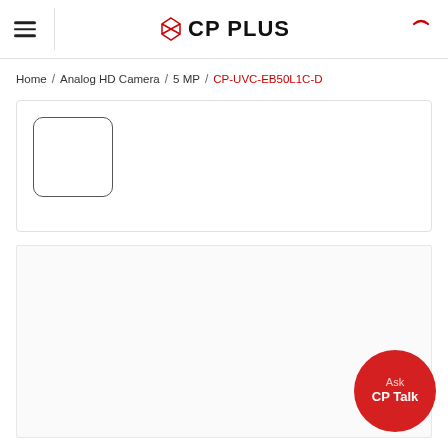CP PLUS
Home / Analog HD Camera / 5 MP / CP-UVC-EB50L1C-D
[Figure (photo): Product thumbnail placeholder box (empty rounded rectangle) for CP-UVC-EB50L1C-D camera]
[Figure (screenshot): Lower content area - empty white/light grey panel]
Ask CP Talk